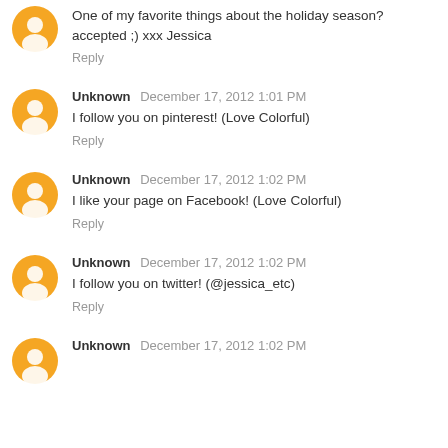One of my favorite things about the holiday season? accepted ;) xxx Jessica
Reply
Unknown December 17, 2012 1:01 PM
I follow you on pinterest! (Love Colorful)
Reply
Unknown December 17, 2012 1:02 PM
I like your page on Facebook! (Love Colorful)
Reply
Unknown December 17, 2012 1:02 PM
I follow you on twitter! (@jessica_etc)
Reply
Unknown December 17, 2012 1:02 PM